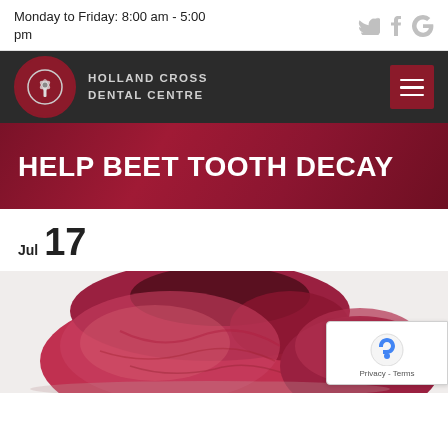Monday to Friday: 8:00 am - 5:00 pm
[Figure (logo): Holland Cross Dental Centre logo with windmill icon in dark red circle on dark navigation bar with hamburger menu]
HELP BEET TOOTH DECAY
Jul 17
[Figure (photo): Close-up photo of a cut beet showing red flesh and texture on white background]